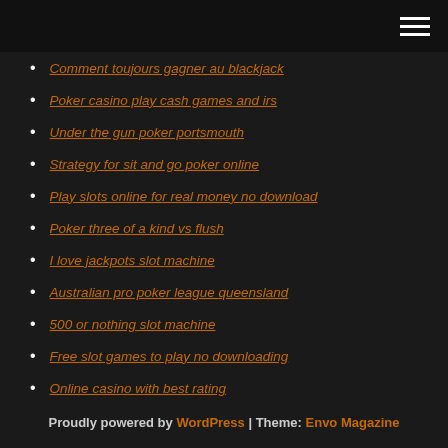[hamburger menu icon]
Comment toujours gagner au blackjack
Poker casino play cash games and irs
Under the gun poker portsmouth
Strategy for sit and go poker online
Play slots online for real money no download
Poker three of a kind vs flush
I love jackpots slot machine
Australian pro poker league queensland
500 or nothing slot machine
Free slot games to play no downloading
Online casino with best rating
Proudly powered by WordPress | Theme: Envo Magazine